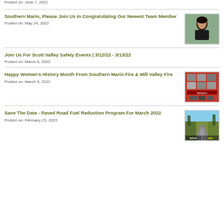Posted on: June 7, 2022
Southern Marin, Please Join Us In Congratulating Our Newest Team Member
Posted on: May 24, 2022
[Figure (photo): Portrait photo of a woman with dark hair outdoors]
Join Us For Scott Valley Safety Events | 3/12/22 - 3/13/22
Posted on: March 8, 2022
Happy Women's History Month From Southern Marin Fire & Mill Valley Fire
Posted on: March 9, 2022
[Figure (photo): Women's History Month promotional graphic with red background and photos]
Save The Date - Paved Road Fuel Reduction Program For March 2022
Posted on: February 23, 2022
[Figure (photo): Before and after photo of a paved road with vegetation clearance]